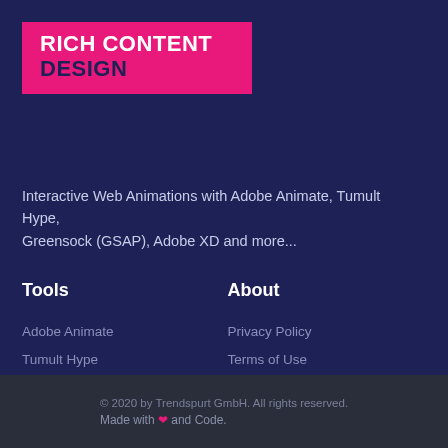RICH CONTENT DESIGN
Interactive Web Animations with Adobe Animate, Tumult Hype, Greensock (GSAP), Adobe XD and more...
Tools
Adobe Animate
Tumult Hype
Greensock (GSAP)
About
Privacy Policy
Terms of Use
Legal
Contact
© 2020 by Trendspurt GmbH. All rights reserved. Made with ❤ and Code.